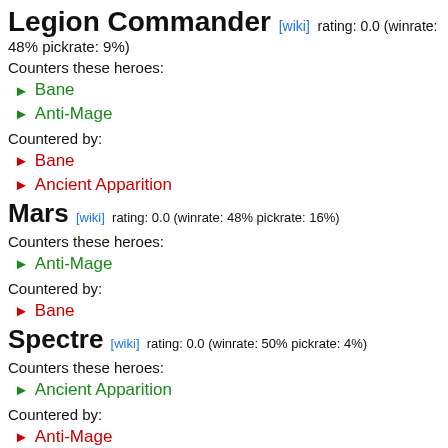Legion Commander [wiki] rating: 0.0 (winrate: 48% pickrate: 9%)
Counters these heroes:
Bane
Anti-Mage
Countered by:
Bane
Ancient Apparition
Mars [wiki] rating: 0.0 (winrate: 48% pickrate: 16%)
Counters these heroes:
Anti-Mage
Countered by:
Bane
Spectre [wiki] rating: 0.0 (winrate: 50% pickrate: 4%)
Counters these heroes:
Ancient Apparition
Countered by:
Anti-Mage